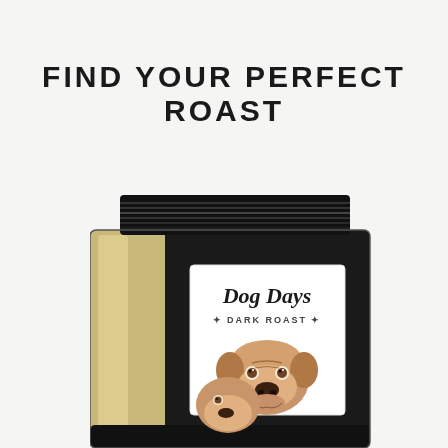FIND YOUR PERFECT ROAST
[Figure (illustration): A coffee bag product photo labeled 'Dog Days Dark Roast' with a bulldog puppy illustration on the label. The bag is black with a gold/tan window on the left side and a white product label featuring the text 'Dog Days' in cursive script and 'DARK ROAST' below it, with a bulldog puppy image.]